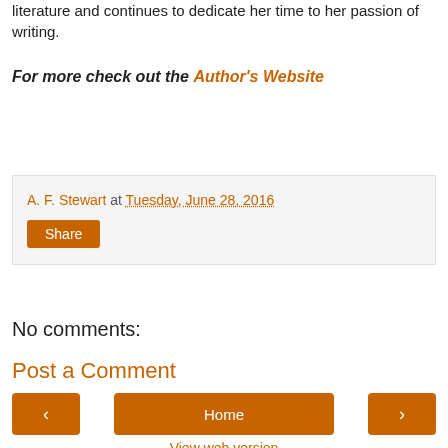literature and continues to dedicate her time to her passion of writing.
For more check out the Author's Website
A. F. Stewart at Tuesday, June 28, 2016
Share
No comments:
Post a Comment
‹  Home  ›
View web version
About Me